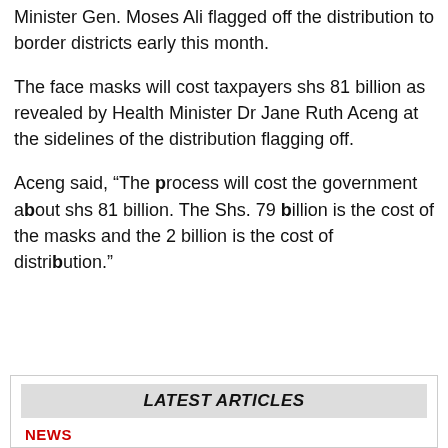Minister Gen. Moses Ali flagged off the distribution to border districts early this month.
The face masks will cost taxpayers shs 81 billion as revealed by Health Minister Dr Jane Ruth Aceng at the sidelines of the distribution flagging off.
Aceng said, “The process will cost the government about shs 81 billion. The Shs. 79 billion is the cost of the masks and the 2 billion is the cost of distribution.”
LATEST ARTICLES
NEWS